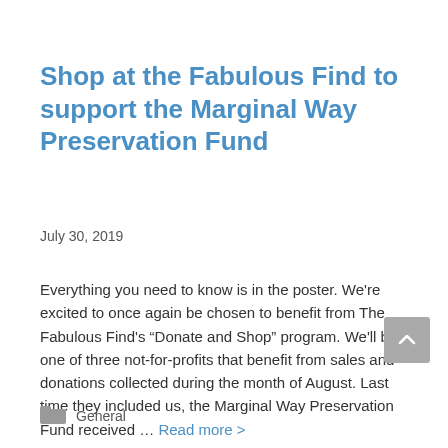Shop at the Fabulous Find to support the Marginal Way Preservation Fund
July 30, 2019
Everything you need to know is in the poster. We're excited to once again be chosen to benefit from The Fabulous Find's “Donate and Shop” program. We'll be one of three not-for-profits that benefit from sales and donations collected during the month of August. Last time they included us, the Marginal Way Preservation Fund received … Read more >
General